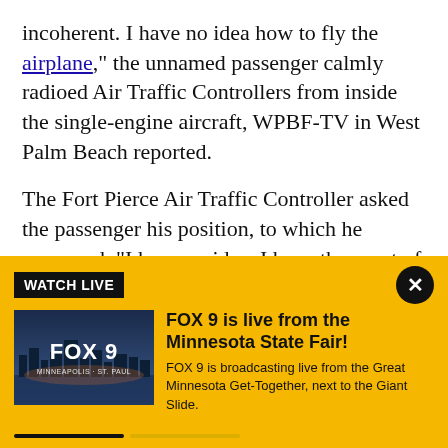incoherent. I have no idea how to fly the airplane," the unnamed passenger calmly radioed Air Traffic Controllers from inside the single-engine aircraft, WPBF-TV in West Palm Beach reported.
The Fort Pierce Air Traffic Controller asked the passenger his position, to which he answered, "I have no idea. I have the coast of Florida in front of me."
The controller told the passenger to keep the wings level and to follow the coast while they attempted to
[Figure (screenshot): Yellow 'Watch Live' banner overlay with FOX 9 thumbnail image showing city skyline at dusk, headline 'FOX 9 is live from the Minnesota State Fair!' and description text, with a close (X) button and progress bar at bottom.]